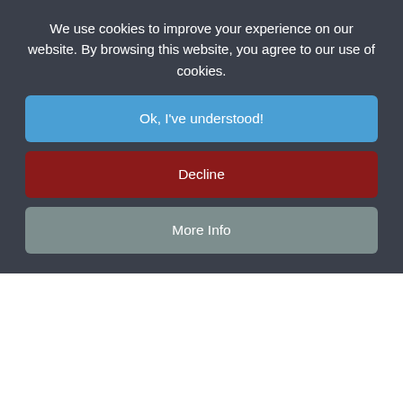We use cookies to improve your experience on our website. By browsing this website, you agree to our use of cookies.
Ok, I've understood!
Decline
More Info
again, the lack of funds. The Board of Education had a special grant available to secondary schools able to provide an experimental science course, and which could provide a certain standard of teaching in the subject. This was an essential part of the Monoux School's income, hence the timetable had at some time - probably in 1895 or l896 - been adjusted to provide the required amount of natural science teaching. In fact, the proportion of science teaching in 1906 differed little from that of the 1960s. By an accident of administration and